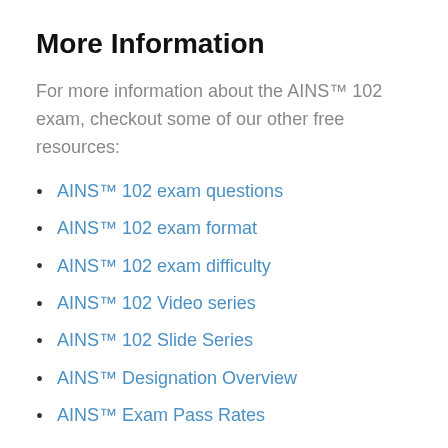More Information
For more information about the AINS™ 102 exam, checkout some of our other free resources:
AINS™ 102 exam questions
AINS™ 102 exam format
AINS™ 102 exam difficulty
AINS™ 102 Video series
AINS™ 102 Slide Series
AINS™ Designation Overview
AINS™ Exam Pass Rates